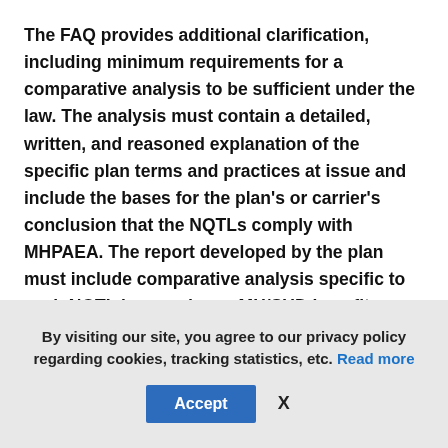The FAQ provides additional clarification, including minimum requirements for a comparative analysis to be sufficient under the law. The analysis must contain a detailed, written, and reasoned explanation of the specific plan terms and practices at issue and include the bases for the plan's or carrier's conclusion that the NQTLs comply with MHPAEA. The report developed by the plan must include comparative analysis specific to each NQTL imposed on a MH/SUD benefit.

At a minimum, sufficient analyses must include
By visiting our site, you agree to our privacy policy regarding cookies, tracking statistics, etc. Read more